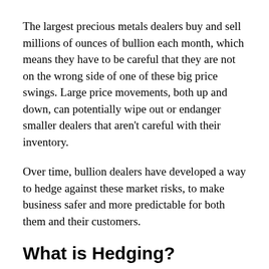The largest precious metals dealers buy and sell millions of ounces of bullion each month, which means they have to be careful that they are not on the wrong side of one of these big price swings. Large price movements, both up and down, can potentially wipe out or endanger smaller dealers that aren't careful with their inventory.
Over time, bullion dealers have developed a way to hedge against these market risks, to make business safer and more predictable for both them and their customers.
What is Hedging?
Hedging is the process of playing both sides of a market to provide protection against the market's fluctuations.